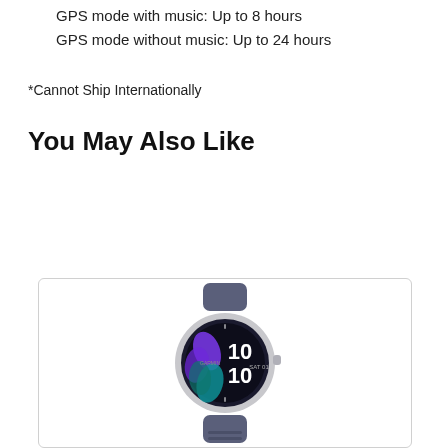GPS mode with music: Up to 8 hours
GPS mode without music: Up to 24 hours
*Cannot Ship Internationally
You May Also Like
[Figure (photo): Garmin smartwatch with blue-grey band and silver bezel, showing a flower-themed watch face with time 10:10 and SAT 01 displayed.]